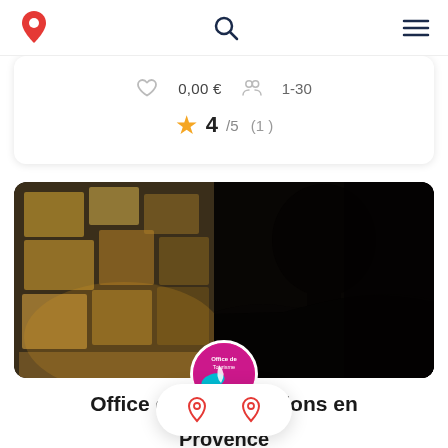Navigation header with logo, search, and menu icons
0,00 € · 1-30
4/5 (1)
[Figure (photo): Silhouette of a person in profile against a stone wall background, dimly lit]
Office d' alons en Provence